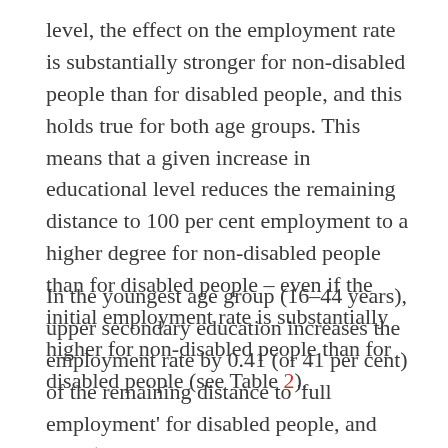level, the effect on the employment rate is substantially stronger for non-disabled people than for disabled people, and this holds true for both age groups. This means that a given increase in educational level reduces the remaining distance to 100 per cent employment to a higher degree for non-disabled people than for disabled people – even if the initial employment rate is substantially higher for non-disabled people than for disabled people (see Table 2).
In the youngest age group (16–44 years), upper secondary education increases the employment rate by 0.41 (or 41 per cent) of the remaining distance to 'full employment' for disabled people, and 0.61 (or 61 per